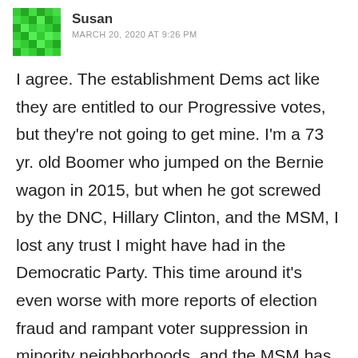[Figure (illustration): Green pixel/mosaic avatar icon for user Susan]
Susan
MARCH 20, 2020 AT 9:26 PM
I agree. The establishment Dems act like they are entitled to our Progressive votes, but they're not going to get mine. I'm a 73 yr. old Boomer who jumped on the Bernie wagon in 2015, but when he got screwed by the DNC, Hillary Clinton, and the MSM, I lost any trust I might have had in the Democratic Party. This time around it's even worse with more reports of election fraud and rampant voter suppression in minority neighborhoods, and the MSM has been relentless in their